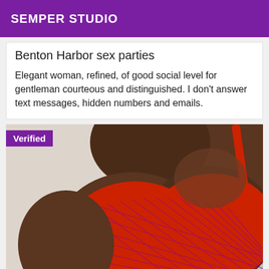SEMPER STUDIO
Benton Harbor sex parties
Elegant woman, refined, of good social level for gentleman courteous and distinguished. I don't answer text messages, hidden numbers and emails.
[Figure (photo): Close-up photo of a woman wearing a red patterned bra, with a 'Verified' badge overlay in the top-left corner.]